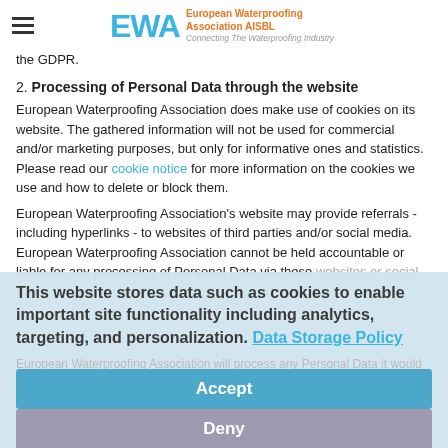EWA European Waterproofing Association AISBL - Connecting The Waterproofing Industry
the GDPR.
2. Processing of Personal Data through the website
European Waterproofing Association does make use of cookies on its website. The gathered information will not be used for commercial and/or marketing purposes, but only for informative ones and statistics. Please read our cookie notice for more information on the cookies we use and how to delete or block them.
European Waterproofing Association's website may provide referrals - including hyperlinks - to websites of third parties and/or social media. European Waterproofing Association cannot be held accountable or liable for any processing of Personal Data via these websites or social media.
This website stores data such as cookies to enable important site functionality including analytics, targeting, and personalization. Data Storage Policy
European Waterproofing Association will process any Personal Data it would receive in the context of a professional relationship with any third party in full compliance with EU and Belgian applicable Privacy legislation, i.e. the Belgian Privacy Act of 8 December on the protection in relation to the processing of personal data) and the General Data Protection Regulation (GDPR) ( Regulation (EU) 2016/79)
Accept
Deny